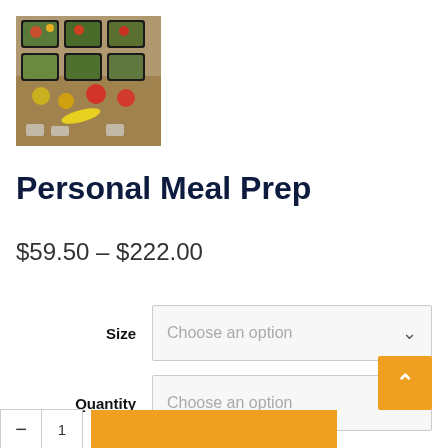[Figure (photo): Photo of meal prep containers arranged on a table, with various prepared meals including fruits and foods in black containers]
Personal Meal Prep
$59.50 – $222.00
Size — Choose an option (dropdown)
Quantity — Choose an option (dropdown)